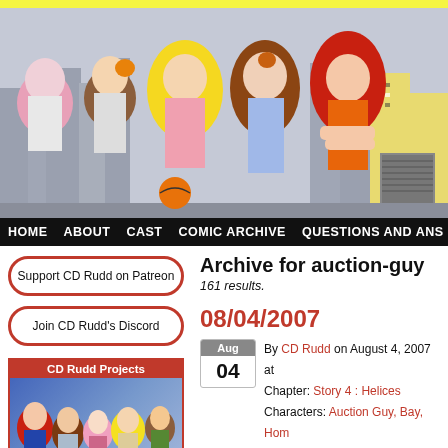[Figure (illustration): Comic website banner with anime-style characters (girl with pink hair, boy, girl with yellow hair, girl with brown hair, red-haired girl in orange top) in front of a city skyline background]
HOME   ABOUT   CAST   COMIC ARCHIVE   QUESTIONS AND ANS
Archive for auction-guy
161 results.
08/04/2007
By CD Rudd on August 4, 2007 at Chapter: Story 4 : Helices Characters: Auction Guy, Bay, Hom
Support CD Rudd on Patreon
Join CD Rudd's Discord
CD Rudd Projects
[Figure (illustration): SailorSun.org project image showing anime-style group of characters]
[Figure (illustration): Second project image showing partial anime character]